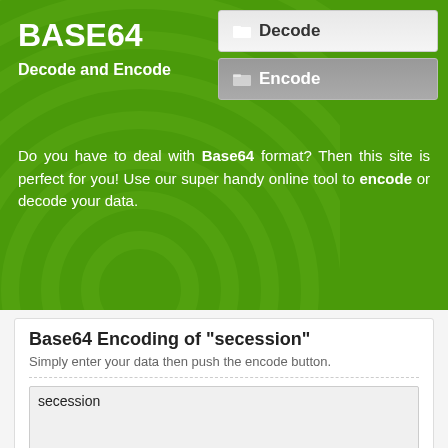BASE64
Decode and Encode
[Figure (screenshot): Decode navigation button with folder icon, active/highlighted state]
[Figure (screenshot): Encode navigation button with folder icon, selected/dark state]
Do you have to deal with Base64 format? Then this site is perfect for you! Use our super handy online tool to encode or decode your data.
Base64 Encoding of "secession"
Simply enter your data then push the encode button.
secession